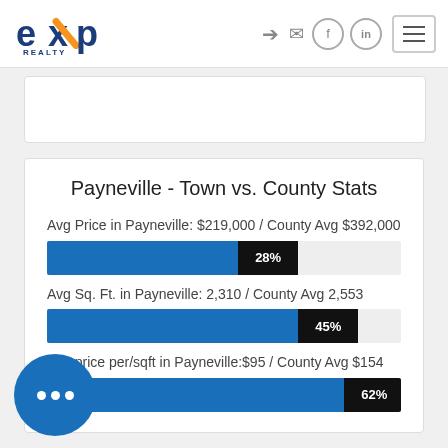eXp Realty header with logo and navigation icons
Payneville - Town vs. County Stats
Avg Price in Payneville: $219,000 / County Avg $392,000
[Figure (bar-chart): Avg Price comparison]
Avg Sq. Ft. in Payneville: 2,310 / County Avg 2,553
[Figure (bar-chart): Avg Sq Ft comparison]
Avg price per/sqft in Payneville: $95 / County Avg $154
[Figure (bar-chart): Avg price per sqft comparison]